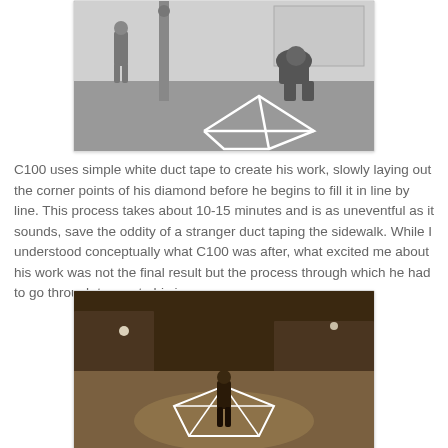[Figure (photo): Black and white photo of a person crouching on a sidewalk placing white duct tape in a diamond/geometric pattern on the pavement, with a lamppost and people in the background.]
C100 uses simple white duct tape to create his work, slowly laying out the corner points of his diamond before he begins to fill it in line by line. This process takes about 10-15 minutes and is as uneventful as it sounds, save the oddity of a stranger duct taping the sidewalk. While I understood conceptually what C100 was after, what excited me about his work was not the final result but the process through which he had to go through to create his imagery.
[Figure (photo): Sepia-toned night photo of a person standing inside a white duct tape diamond shape on a public plaza or sidewalk, with buildings and lights in the background.]